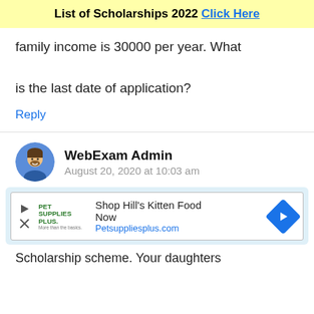List of Scholarships 2022 Click Here
family income is 30000 per year. What is the last date of application?
Reply
WebExam Admin
August 20, 2020 at 10:03 am
[Figure (screenshot): Advertisement for Pet Supplies Plus - Shop Hill's Kitten Food Now, Petsuppliesplus.com]
Scholarship scheme. Your daughters